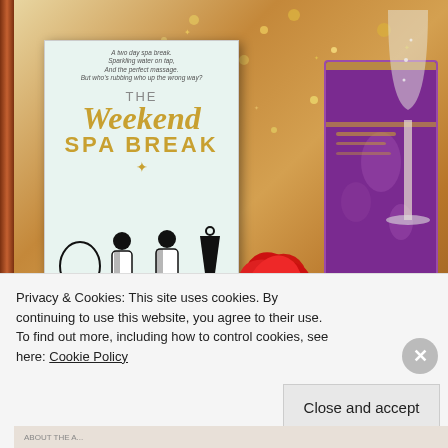[Figure (photo): A promotional image showing a book cover for 'The Weekend Spa Break' by Anne John-Ligali against a spa-themed background with bokeh lights, a red hibiscus flower, a purple gift box, and a champagne glass. The book cover features gold and teal typography with silhouettes of women at a spa.]
Good luck for the competition, let me know what you think of
Privacy & Cookies: This site uses cookies. By continuing to use this website, you agree to their use.
To find out more, including how to control cookies, see here: Cookie Policy
Close and accept